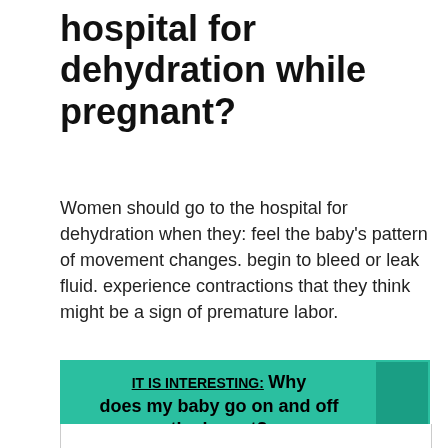When should you go to the hospital for dehydration while pregnant?
Women should go to the hospital for dehydration when they: feel the baby's pattern of movement changes. begin to bleed or leak fluid. experience contractions that they think might be a sign of premature labor.
IT IS INTERESTING:  Why does my baby go on and off the breast?